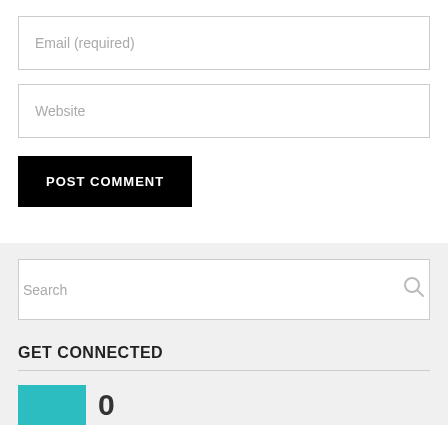Email (required)
Website
POST COMMENT
Search
GET CONNECTED
[Figure (other): Teal social media icon box followed by the number 0]